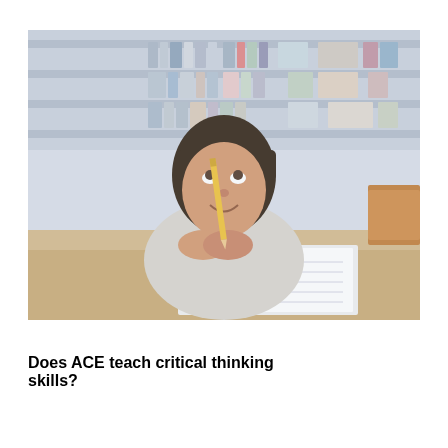[Figure (photo): A young girl sitting at a desk in a library, holding a pencil and looking upward thoughtfully, with bookshelves in the background and an open notebook in front of her.]
Does ACE teach critical thinking skills?